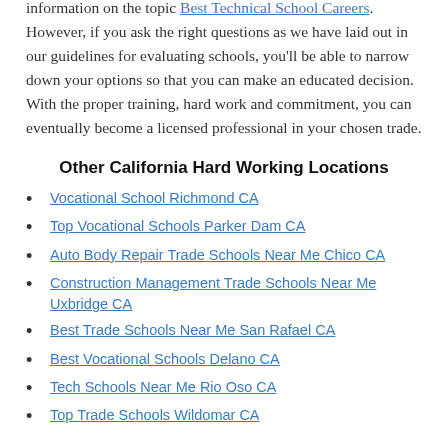information on the topic Best Technical School Careers. However, if you ask the right questions as we have laid out in our guidelines for evaluating schools, you'll be able to narrow down your options so that you can make an educated decision. With the proper training, hard work and commitment, you can eventually become a licensed professional in your chosen trade.
Other California Hard Working Locations
Vocational School Richmond CA
Top Vocational Schools Parker Dam CA
Auto Body Repair Trade Schools Near Me Chico CA
Construction Management Trade Schools Near Me Uxbridge CA
Best Trade Schools Near Me San Rafael CA
Best Vocational Schools Delano CA
Tech Schools Near Me Rio Oso CA
Top Trade Schools Wildomar CA